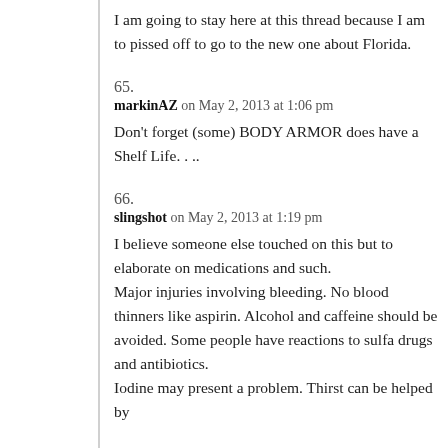I am going to stay here at this thread because I am to pissed off to go to the new one about Florida.
65.
markinAZ on May 2, 2013 at 1:06 pm
Don't forget (some) BODY ARMOR does have a Shelf Life. . ..
66.
slingshot on May 2, 2013 at 1:19 pm
I believe someone else touched on this but to elaborate on medications and such. Major injuries involving bleeding. No blood thinners like aspirin. Alcohol and caffeine should be avoided. Some people have reactions to sulfa drugs and antibiotics. Iodine may present a problem. Thirst can be helped by